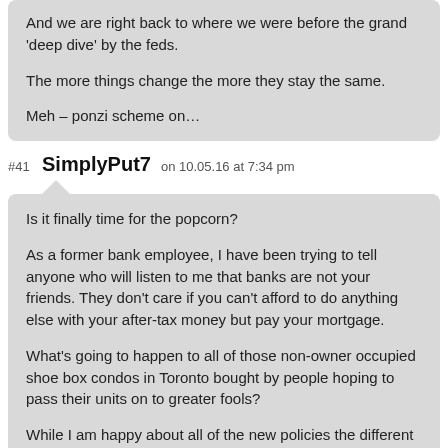And we are right back to where we were before the grand 'deep dive' by the feds.

The more things change the more they stay the same.

Meh – ponzi scheme on…
#41 SimplyPut7 on 10.05.16 at 7:34 pm
Is it finally time for the popcorn?

As a former bank employee, I have been trying to tell anyone who will listen to me that banks are not your friends. They don't care if you can't afford to do anything else with your after-tax money but pay your mortgage.

What's going to happen to all of those non-owner occupied shoe box condos in Toronto bought by people hoping to pass their units on to greater fools?

While I am happy about all of the new policies the different levels of government are creating to tackle the housing problem. I think all of them…